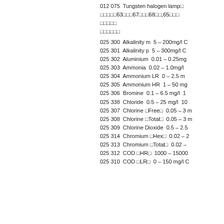012 075  Tungsten halogen lamp□
□□□□□63□□□67□□□68□□,65□□□
□□□□□
□□□□□□
025 300  Alkalinity m  5 – 200mg/l C
025 301  Alkalinity p  5 – 300mg/l C
025 302  Aluminium  0.01 – 0.25mg
025 303  Ammonia  0.02 – 1.0mg/l
025 304  Ammonium LR  0 – 2.5 m
025 305  Ammonium HR  1 – 50 mg
025 306  Bromine  0.1 – 6.5 mg/l  1
025 338  Chloride  0.5 – 25 mg/l  10
025 307  Chlorine □Free□  0.05 – 3 m
025 308  Chlorine □Total□  0.05 – 3 m
025 309  Chlorine Dioxide  0.5 – 2.5
025 314  Chromium □Hex□  0.02 – 2
025 313  Chromium □Total□  0.02 –
025 312  COD □HR□  1000 – 15000
025 310  COD □LR□  0 – 150 mg/l C